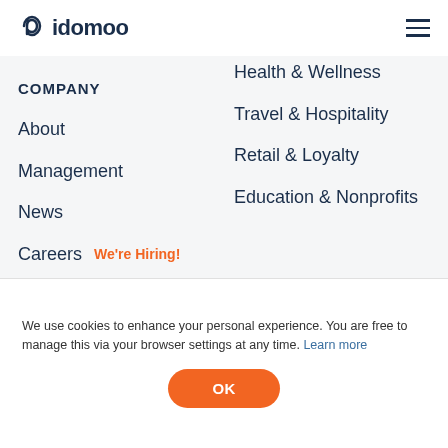idomoo
Health & Wellness
Travel & Hospitality
COMPANY
Retail & Loyalty
Education & Nonprofits
About
Management
News
Careers  We're Hiring!
We use cookies to enhance your personal experience. You are free to manage this via your browser settings at any time. Learn more
OK